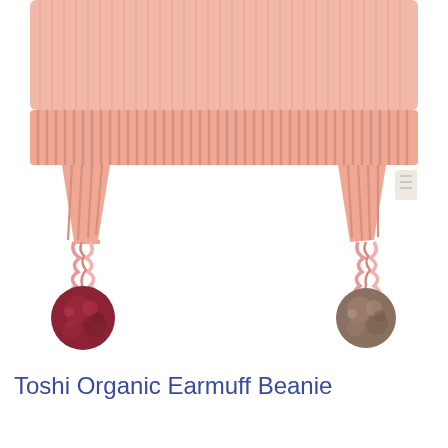[Figure (photo): Close-up photo of a pink knitted earmuff beanie hat with two ear flap extensions ending in twisted braided cords. The left cord has a dark red/maroon pompom at the end; the right cord has a brown/taupe pompom. The hat has a ribbed band at the top and fine knit texture. White background.]
Toshi Organic Earmuff Beanie